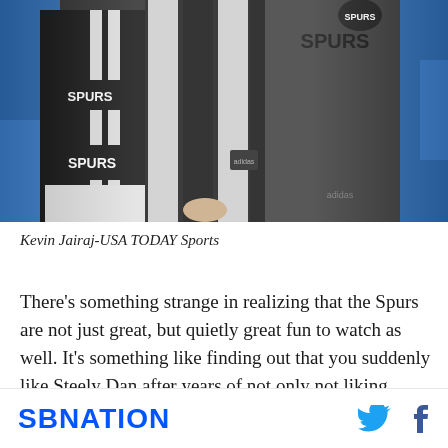[Figure (photo): San Antonio Spurs players standing in a row wearing black and white Spurs jerseys, with fans in blue shirts visible in the background. Players appear to be during the national anthem.]
Kevin Jairaj-USA TODAY Sports
There's something strange in realizing that the Spurs are not just great, but quietly great fun to watch as well. It's something like finding out that you suddenly like Steely Dan after years of not only not liking Steely Dan,
SBNATION